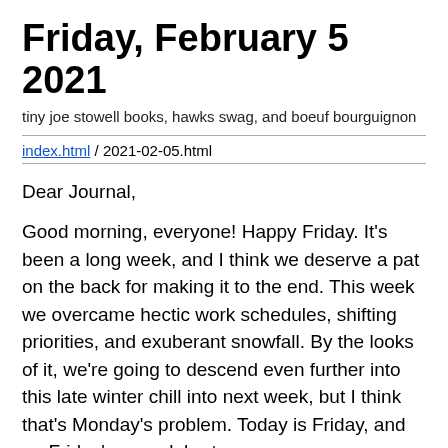Friday, February 5 2021
tiny joe stowell books, hawks swag, and boeuf bourguignon
index.html / 2021-02-05.html
Dear Journal,
Good morning, everyone! Happy Friday. It's been a long week, and I think we deserve a pat on the back for making it to the end. This week we overcame hectic work schedules, shifting priorities, and exuberant snowfall. By the looks of it, we're going to descend even further into this late winter chill into next week, but I think that's Monday's problem. Today is Friday, and on Friday's we celebrate.
This morning I'd like to give a shout-out to KRANG, the mighty sourdough starter. I don't mention him as frequently,